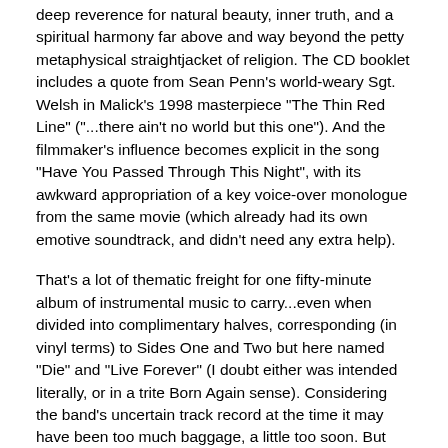deep reverence for natural beauty, inner truth, and a spiritual harmony far above and way beyond the petty metaphysical straightjacket of religion. The CD booklet includes a quote from Sean Penn's world-weary Sgt. Welsh in Malick's 1998 masterpiece "The Thin Red Line" ("...there ain't no world but this one"). And the filmmaker's influence becomes explicit in the song "Have You Passed Through This Night", with its awkward appropriation of a key voice-over monologue from the same movie (which already had its own emotive soundtrack, and didn't need any extra help).
That's a lot of thematic freight for one fifty-minute album of instrumental music to carry...even when divided into complimentary halves, corresponding (in vinyl terms) to Sides One and Two but here named "Die" and "Live Forever" (I doubt either was intended literally, or in a trite Born Again sense). Considering the band's uncertain track record at the time it may have been too much baggage, a little too soon. But they were learning on the job how to be more patient, in both composition and performance, slowly building their own wide-screen musical language using only electric guitars and very loud drums.
Later albums would articulate the band's collective vision better. The vernacular here was still a bit crude (Christopher Hrasky's cymbal-abuse borders on sadism). But this was where EitS found its voice. And that discovery might have been expressed in the